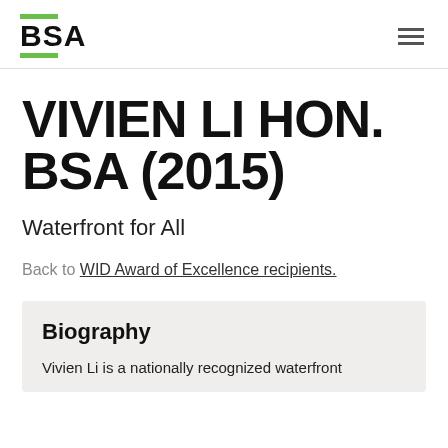BSA
VIVIEN LI HON. BSA (2015)
Waterfront for All
Back to WID Award of Excellence recipients.
Biography
Vivien Li is a nationally recognized waterfront